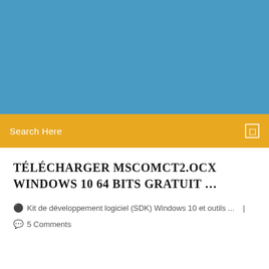[Figure (illustration): Blue banner/header background area]
Search Here
TÉLÉCHARGER MSCOMCT2.OCX WINDOWS 10 64 BITS GRATUIT …
Kit de développement logiciel (SDK) Windows 10 et outils ...  |  5 Comments